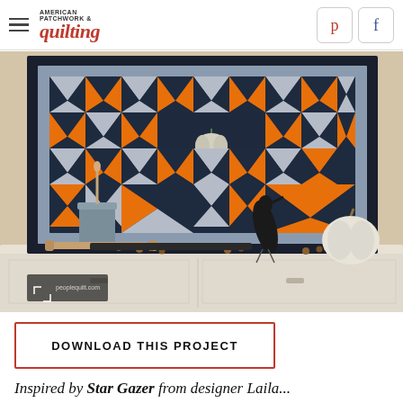AMERICAN PATCHWORK & quilting — Pinterest and Facebook social buttons
[Figure (photo): A Halloween/fall themed quilt with navy, orange and white star-pattern blocks hung on a wall above a console table decorated with a white pumpkin, black bird sculpture, wooden rolling pin, acorns, and a metal cylinder vase. Watermark: peoplequilt.com]
DOWNLOAD THIS PROJECT
Inspired by Star Gazer from designer Laila...